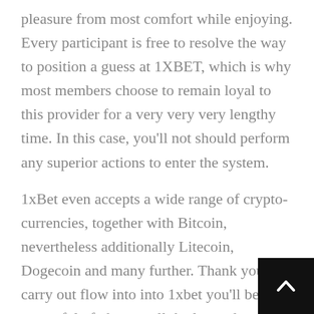pleasure from most comfort while enjoying. Every participant is free to resolve the way to position a guess at 1XBET, which is why most members choose to remain loyal to this provider for a very very very lengthy time. In this case, you'll not should perform any superior actions to enter the system.
1xBet even accepts a wide range of crypto-currencies, together with Bitcoin, nevertheless additionally Litecoin, Dogecoin and many further. Thank you to carry out flow into into 1xbet you'll be succesful of observe all the latest data in a helpful format. The knowledge proper proper right here is up to date in exact time, which may be very useful. And the upper you truly do on the sport in question, the extra